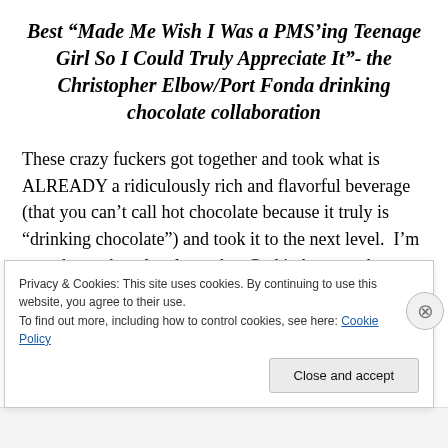Best “Made Me Wish I Was a PMS’ing Teenage Girl So I Could Truly Appreciate It”- the Christopher Elbow/Port Fonda drinking chocolate collaboration
These crazy fuckers got together and took what is ALREADY a ridiculously rich and flavorful beverage (that you can’t call hot chocolate because it truly is “drinking chocolate”) and took it to the next level.  I’m not a huge chocolate lover, but God in heaven, the addition of what
Privacy & Cookies: This site uses cookies. By continuing to use this website, you agree to their use.
To find out more, including how to control cookies, see here: Cookie Policy